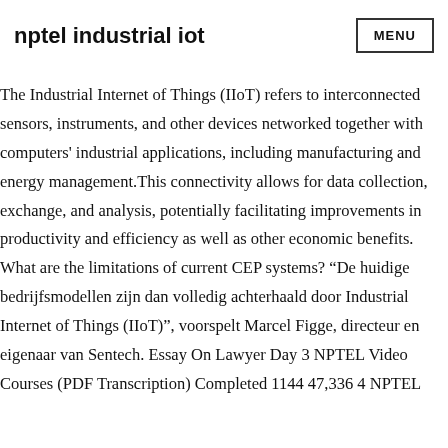nptel industrial iot
The Industrial Internet of Things (IIoT) refers to interconnected sensors, instruments, and other devices networked together with computers' industrial applications, including manufacturing and energy management.This connectivity allows for data collection, exchange, and analysis, potentially facilitating improvements in productivity and efficiency as well as other economic benefits. What are the limitations of current CEP systems? “De huidige bedrijfsmodellen zijn dan volledig achterhaald door Industrial Internet of Things (IIoT)”, voorspelt Marcel Figge, directeur en eigenaar van Sentech. Essay On Lawyer Day 3 NPTEL Video Courses (PDF Transcription) Completed 1144 47,336 4 NPTEL